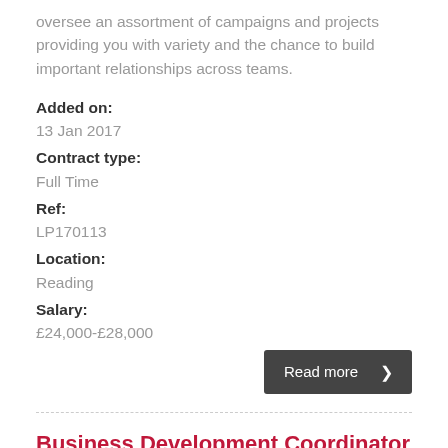oversee an assortment of campaigns and projects providing you with variety and the chance to build important relationships across teams.
Added on:
13 Jan 2017
Contract type:
Full Time
Ref:
LP170113
Location:
Reading
Salary:
£24,000-£28,000
[Figure (other): Read more button with arrow]
Business Development Coordinator – Leading Regional Law Firm